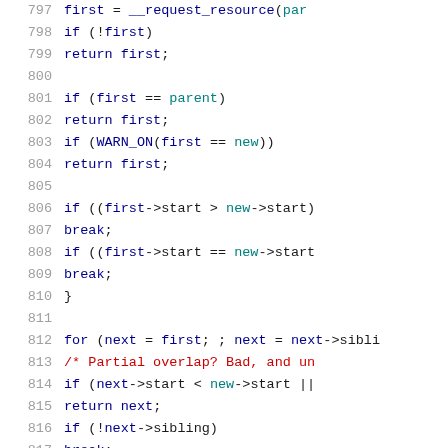[Figure (screenshot): Source code listing in C, lines 797–818, showing kernel resource allocation code with syntax highlighting. Keywords in dark blue, identifiers in dark blue, special values like 'new' and 'parent' in teal, comments in red.]